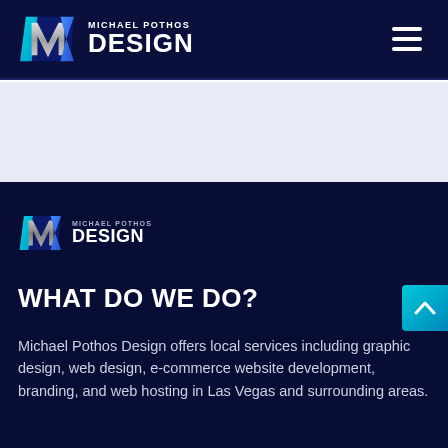Michael Pothos Design - Navigation bar with logo and hamburger menu
[Figure (logo): Michael Pothos Design logo in navigation bar - stylized MP chevron icon with MICHAEL POTHOS DESIGN text in white on dark navy background]
[Figure (logo): Michael Pothos Design logo in footer section - smaller stylized MP chevron icon with MICHAEL POTHOS DESIGN text]
WHAT DO WE DO?
Michael Pothos Design offers local services including graphic design, web design, e-commerce website development, branding, and web hosting in Las Vegas and surrounding areas.